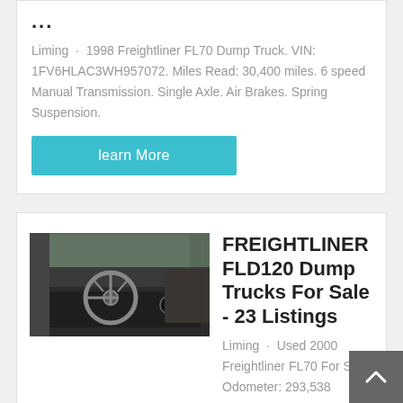...
Liming · 1998 Freightliner FL70 Dump Truck. VIN: 1FV6HLAC3WH957072. Miles Read: 30,400 miles. 6 speed Manual Transmission. Single Axle. Air Brakes. Spring Suspension.
learn More
[Figure (photo): Interior of a truck cab showing steering wheel and dashboard]
FREIGHTLINER FLD120 Dump Trucks For Sale - 23 Listings
Liming · Used 2000 Freightliner FL70 For Sale. Odometer: 293,538